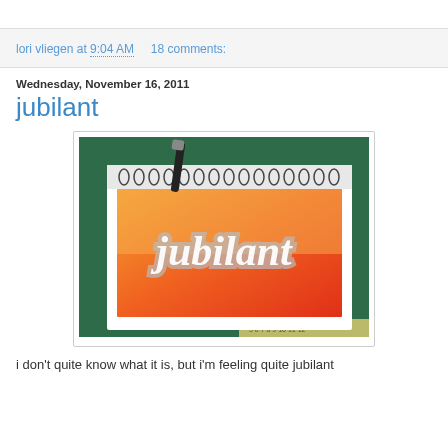lori vliegen at 9:04 AM    18 comments:
Wednesday, November 16, 2011
jubilant
[Figure (photo): A spiral-bound sketchbook open to a page with the word 'jubilant' written in large cursive/script cut-out letters over an orange-to-red gradient watercolor background. A black marker/pen rests on top of the sketchbook. The sketchbook sits on a green cutting mat with a ruler visible at the bottom.]
i don't quite know what it is, but i'm feeling quite jubilant